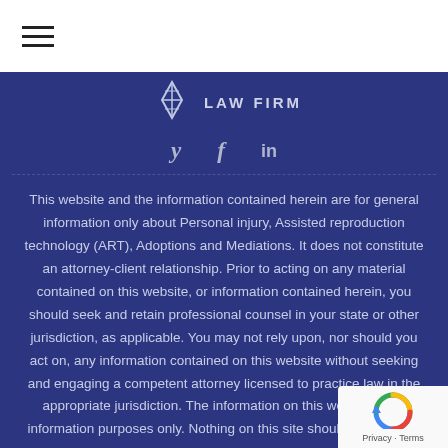[Figure (logo): Hamburger menu icon (three horizontal lines) in top-left header]
[Figure (logo): Law firm logo with feather/scales graphic and 'LAW FIRM' text on dark blue background]
[Figure (infographic): Social media icons: Twitter (y), Facebook (f), LinkedIn (in) on dark blue background]
This website and the information contained herein are for general information only about Personal injury, Assisted reproduction technology (ART), Adoptions and Mediations. It does not constitute an attorney-client relationship. Prior to acting on any material contained on this website, or information contained herein, you should seek and retain professional counsel in your state or other jurisdiction, as applicable. You may not rely upon, nor should you act on, any information contained on this website without seeking and engaging a competent attorney licensed to practice law in the appropriate jurisdiction. The information on this website is for information purposes only. Nothing on this site should be taken as
[Figure (logo): reCAPTCHA badge with Privacy and Terms links]